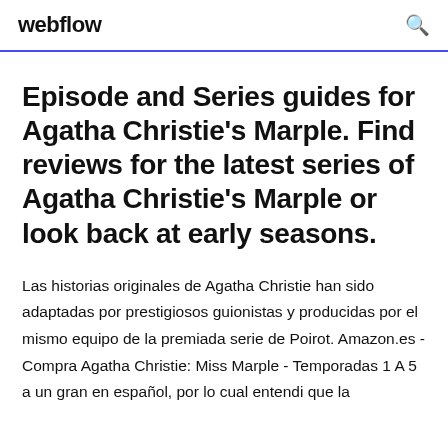webflow
Episode and Series guides for Agatha Christie's Marple. Find reviews for the latest series of Agatha Christie's Marple or look back at early seasons.
Las historias originales de Agatha Christie han sido adaptadas por prestigiosos guionistas y producidas por el mismo equipo de la premiada serie de Poirot. Amazon.es - Compra Agatha Christie: Miss Marple - Temporadas 1 A 5 a un gran en español, por lo cual entendi que la